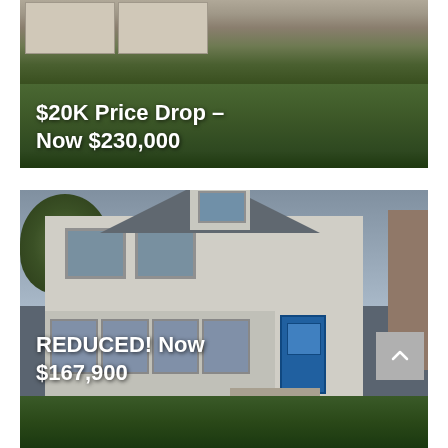[Figure (photo): Exterior photo of a residential home with a two-car garage, green lawn, and trees. Text overlay reads: $20K Price Drop – Now $230,000]
[Figure (photo): Exterior photo of a two-story house with a blue front door, porch with large windows, dormer window, and landscaping. Text overlay reads: REDUCED! Now $167,900. A scroll-to-top button is visible in the lower right.]